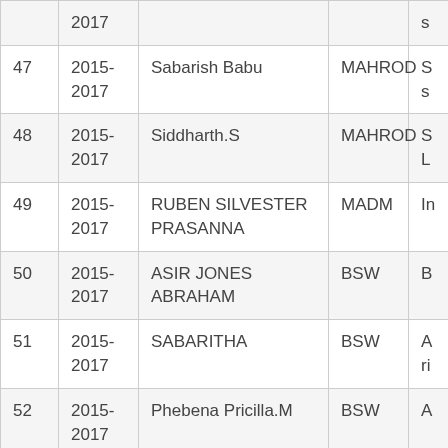| # | Year | Name | Dept | ... |
| --- | --- | --- | --- | --- |
|  | 2017 |  |  | s |
| 47 | 2015-2017 | Sabarish Babu | MAHROD | S s |
| 48 | 2015-2017 | Siddharth.S | MAHROD | S L |
| 49 | 2015-2017 | RUBEN SILVESTER PRASANNA | MADM | In |
| 50 | 2015-2017 | ASIR JONES ABRAHAM | BSW | B |
| 51 | 2015-2017 | SABARITHA | BSW | A ri |
| 52 | 2015-2017 | Phebena Pricilla.M | BSW | A |